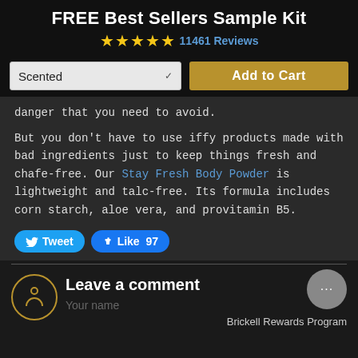FREE Best Sellers Sample Kit
★★★★★ 11461 Reviews
Scented  (dropdown)   Add to Cart
danger that you need to avoid.
But you don't have to use iffy products made with bad ingredients just to keep things fresh and chafe-free. Our Stay Fresh Body Powder is lightweight and talc-free. Its formula includes corn starch, aloe vera, and provitamin B5.
Tweet   Like 97
Leave a comment
Your name
Brickell Rewards Program